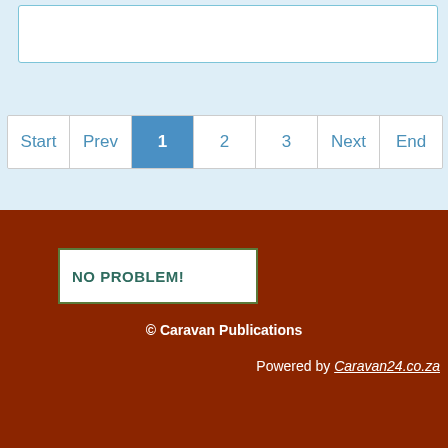[Figure (screenshot): Search input box with light blue background and white interior with teal border]
Start  Prev  1  2  3  Next  End
NO PROBLEM!
© Caravan Publications
Powered by Caravan24.co.za